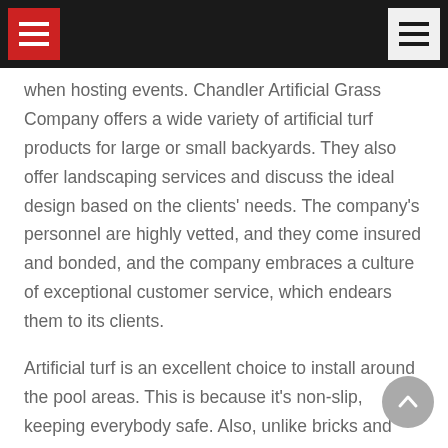[navigation bar with hamburger menus]
when hosting events. Chandler Artificial Grass Company offers a wide variety of artificial turf products for large or small backyards. They also offer landscaping services and discuss the ideal design based on the clients' needs. The company's personnel are highly vetted, and they come insured and bonded, and the company embraces a culture of exceptional customer service, which endears them to its clients.
Artificial turf is an excellent choice to install around the pool areas. This is because it's non-slip, keeping everybody safe. Also, unlike bricks and pavers, it does not retain heat, keeping the pool area comfortable and cool, especially during summer. The technicians understand that preparations before installation are paramount, and they take their time to prepare a